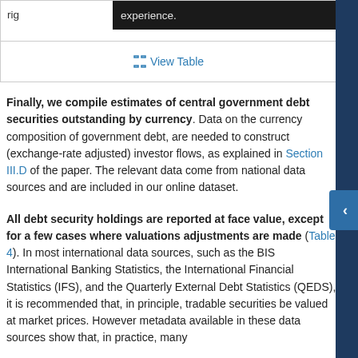rig experience.
⊡ View Table
Finally, we compile estimates of central government debt securities outstanding by currency. Data on the currency composition of government debt, are needed to construct (exchange-rate adjusted) investor flows, as explained in Section III.D of the paper. The relevant data come from national data sources and are included in our online dataset.
All debt security holdings are reported at face value, except for a few cases where valuations adjustments are made (Table 4). In most international data sources, such as the BIS International Banking Statistics, the International Financial Statistics (IFS), and the Quarterly External Debt Statistics (QEDS), it is recommended that, in principle, tradable securities be valued at market prices. However metadata available in these data sources show that, in practice, many